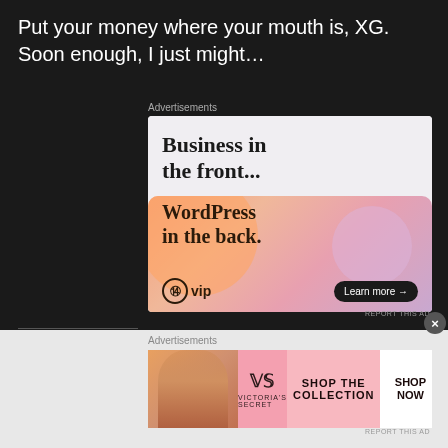Put your money where your mouth is, XG. Soon enough, I just might…
Advertisements
[Figure (illustration): WordPress VIP advertisement: 'Business in the front... WordPress in the back.' with gradient background showing orange/pink/purple blobs, WordPress VIP logo, and 'Learn more →' button]
Advertisements
[Figure (illustration): Victoria's Secret advertisement showing a woman's face on the left, Victoria's Secret logo in center, 'SHOP THE COLLECTION' text, and 'SHOP NOW' button on white background]